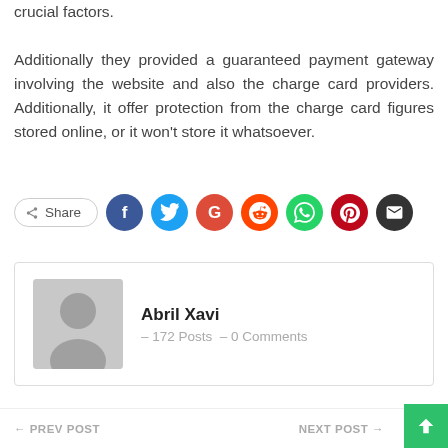crucial factors. Additionally they provided a guaranteed payment gateway involving the website and also the charge card providers. Additionally, it offer protection from the charge card figures stored online, or it won't store it whatsoever.
[Figure (infographic): Share button row with social media icons: Facebook (blue), Twitter (cyan), Google (red-orange), Reddit (orange-red), WhatsApp (green), Pinterest (dark red), Email (dark gray)]
Abril Xavi  –  172 Posts  –  0 Comments
← PREV POST    NEXT POST →